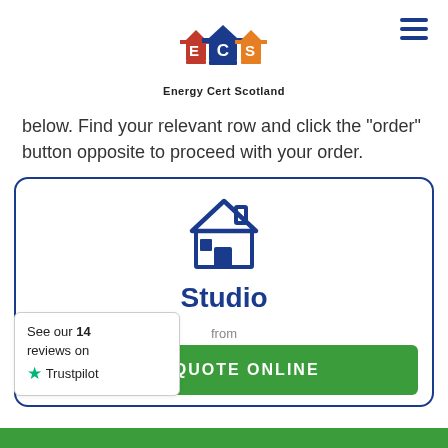[Figure (logo): Energy Cert Scotland (ECS) logo with three house icons in red, blue, and orange, with letters E, C, S inside them]
below. Find your relevant row and click the "order" button opposite to proceed with your order.
[Figure (illustration): Card with blue house icon, title 'Studio', 'from' label, and green 'GET QUOTE ONLINE' button]
See our 14 reviews on Trustpilot